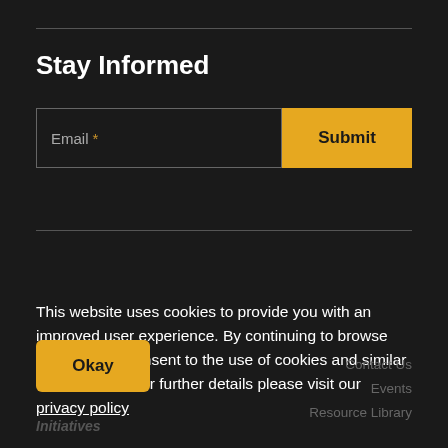Stay Informed
Email *
Submit
This website uses cookies to provide you with an improved user experience. By continuing to browse this site, you consent to the use of cookies and similar technologies. For further details please visit our privacy policy
Okay
Initiatives
Contact Us
Events
Resource Library